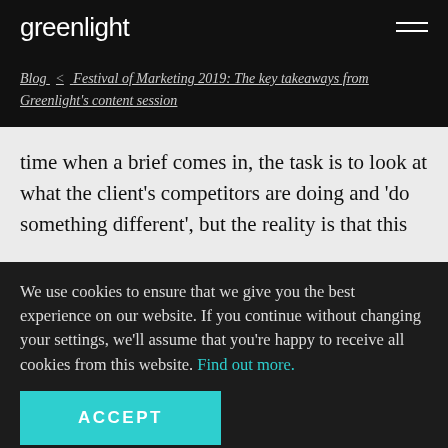greenlight
Blog  <  Festival of Marketing 2019: The key takeaways from Greenlight's content session
time when a brief comes in, the task is to look at what the client's competitors are doing and 'do something different', but the reality is that this
We use cookies to ensure that we give you the best experience on our website. If you continue without changing your settings, we'll assume that you're happy to receive all cookies from this website. Find out more.
ACCEPT